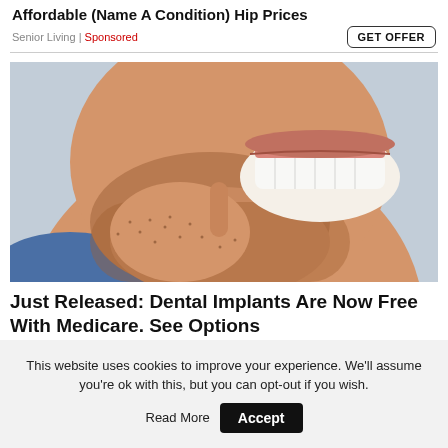Affordable (Name A Condition) Hip Prices
Senior Living | Sponsored
[Figure (photo): Close-up photo of a man with a beard pointing at his gum/teeth with his finger, showing dental concern]
Just Released: Dental Implants Are Now Free With Medicare. See Options
This website uses cookies to improve your experience. We'll assume you're ok with this, but you can opt-out if you wish.
Accept
Read More